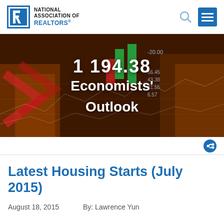NATIONAL ASSOCIATION OF REALTORS®
[Figure (photo): Financial market background with stock charts, coins, and price numbers overlay. Shows numbers including 1194.38 and other financial figures. Text overlay reads 'Economists' Outlook']
Latest Housing Starts (July 2015)
August 18, 2015    By: Lawrence Yun